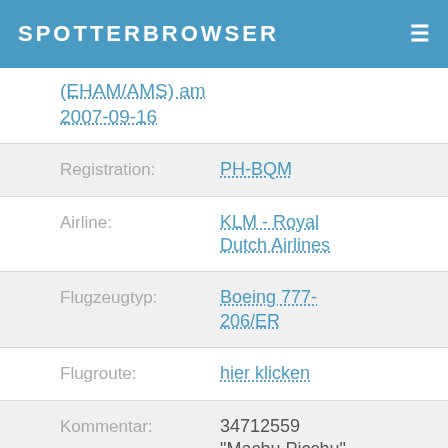SPOTTERBROWSER
(EHAM/AMS) am 2007-09-16
| Registration: | PH-BQM |
| Airline: | KLM - Royal Dutch Airlines |
| Flugzeugtyp: | Boeing 777-206/ER |
| Flugroute: | hier klicken |
| Kommentar: | 34712559 "Machu Picchu" |
| C/N: | 34712/559 |